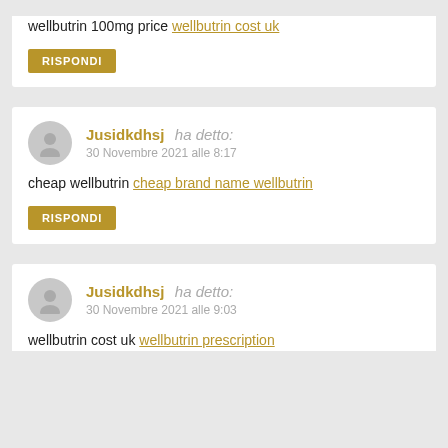wellbutrin 100mg price wellbutrin cost uk
RISPONDI
Jusidkdhsj ha detto:
30 Novembre 2021 alle 8:17
cheap wellbutrin cheap brand name wellbutrin
RISPONDI
Jusidkdhsj ha detto:
30 Novembre 2021 alle 9:03
wellbutrin cost uk wellbutrin prescription